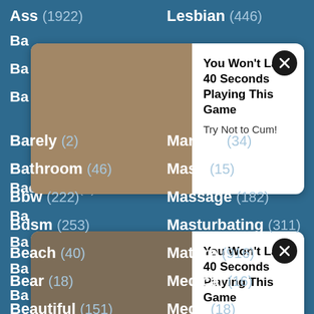Ass (1922)
Lesbian (446)
Backseat (6)
Live (128)
[Figure (other): Ad popup card 1 with image thumbnail and text: You Won't Last 40 Seconds Playing This Game / Try Not to Cum!]
[Figure (other): Ad popup card 2 with image thumbnail and text: You Won't Last 40 Seconds Playing This Game / Try Not to Cum!]
Barely (2)
Married (34)
Bathroom (46)
Mask (15)
Bbw (222)
Massage (182)
Bdsm (253)
Masturbating (311)
Beach (40)
Mature (916)
Bear (18)
Medical (16)
Beautiful (151)
Mega (18)
Bedroom (14)
Messy (7)